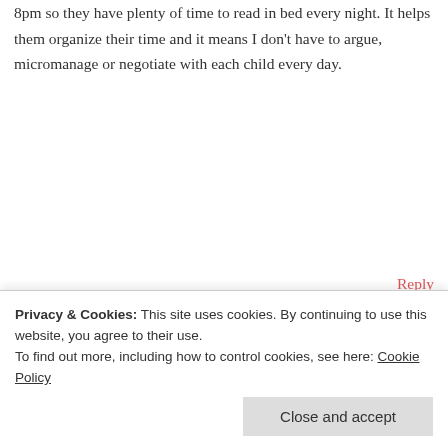8pm so they have plenty of time to read in bed every night. It helps them organize their time and it means I don't have to argue, micromanage or negotiate with each child every day.
Reply
[Figure (illustration): Avatar icon with red and white geometric snowflake/quilt pattern design]
frothpen
October 5, 2015 at 2:39 pm
I love this! My question though, and an issue I struggle with, is if I make my kids do all of the H's before screen time, they rush through and
complete what they are supposed to complete.
Privacy & Cookies: This site uses cookies. By continuing to use this website, you agree to their use.
To find out more, including how to control cookies, see here: Cookie Policy
Close and accept